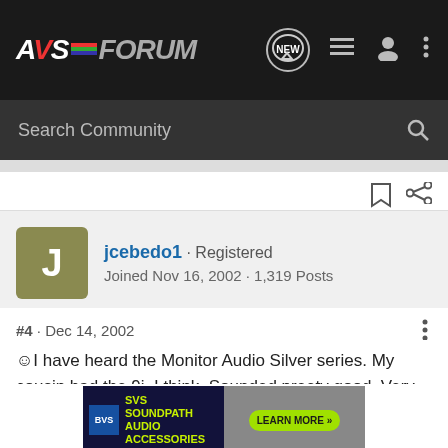AVS FORUM - Search Community
jcebedo1 · Registered
Joined Nov 16, 2002 · 1,319 Posts
#4 · Dec 14, 2002
I have heard the Monitor Audio Silver series. My cousin had the 9i, I think. Sounded preety good. Very clean sounding, however a little too forward for my tastes. But it might be to your liking, my cousin really loved them.
[Figure (other): SVS SoundPath Audio Accessories advertisement banner with Learn More button]
Listen to...ow